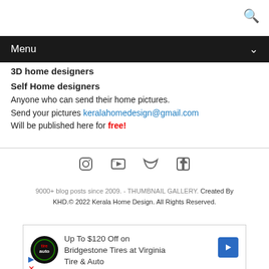🔍
Menu
3D home designers
Self Home designers
Anyone who can send their home pictures.
Send your pictures keralahomedesign@gmail.com
Will be published here for free!
[Figure (other): Social media icons: Instagram, YouTube, Twitter, Facebook]
9000+ blog posts since 2009. - THUMBNAIL GALLERY. Created By KHD.© 2022 Kerala Home Design. All Rights Reserved.
[Figure (other): Advertisement: Up To $120 Off on Bridgestone Tires at Virginia Tire & Auto with tire logo and blue arrow icon]